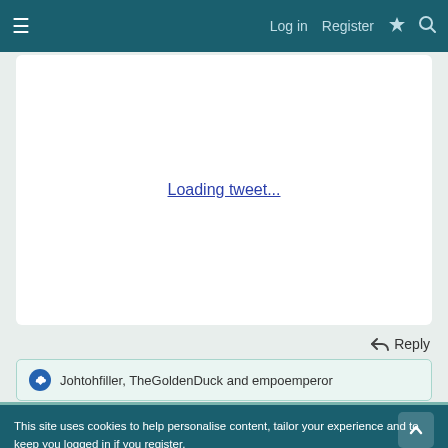≡  Log in  Register  ⚡  🔍
[Figure (screenshot): Embedded tweet placeholder showing 'Loading tweet...' link text on white background]
↩ Reply
👍 Johtohfiller, TheGoldenDuck and empoemperor
This site uses cookies to help personalise content, tailor your experience and to keep you logged in if you register.
By continuing to use this site, you are consenting to our use of cookies.
✓ Accept   Learn more...